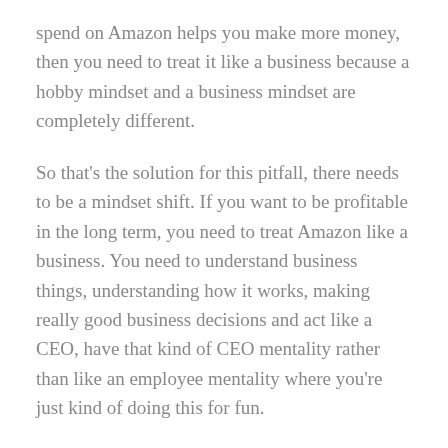spend on Amazon helps you make more money, then you need to treat it like a business because a hobby mindset and a business mindset are completely different.
So that's the solution for this pitfall, there needs to be a mindset shift. If you want to be profitable in the long term, you need to treat Amazon like a business. You need to understand business things, understanding how it works, making really good business decisions and act like a CEO, have that kind of CEO mentality rather than like an employee mentality where you're just kind of doing this for fun.
So you want to make sure that you are treating Amazon like a business not just a hobby.